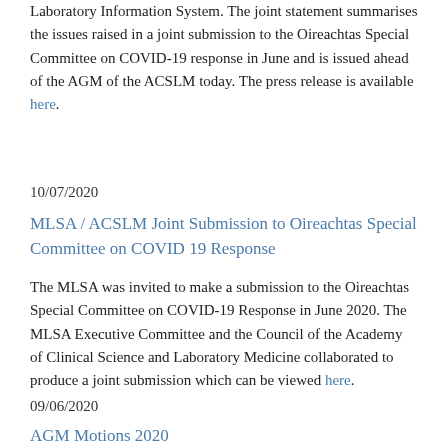Laboratory Information System. The joint statement summarises the issues raised in a joint submission to the Oireachtas Special Committee on COVID-19 response in June and is issued ahead of the AGM of the ACSLM today. The press release is available here.
10/07/2020
MLSA / ACSLM Joint Submission to Oireachtas Special Committee on COVID 19 Response
The MLSA was invited to make a submission to the Oireachtas Special Committee on COVID-19 Response in June 2020. The MLSA Executive Committee and the Council of the Academy of Clinical Science and Laboratory Medicine collaborated to produce a joint submission which can be viewed here.
09/06/2020
AGM Motions 2020